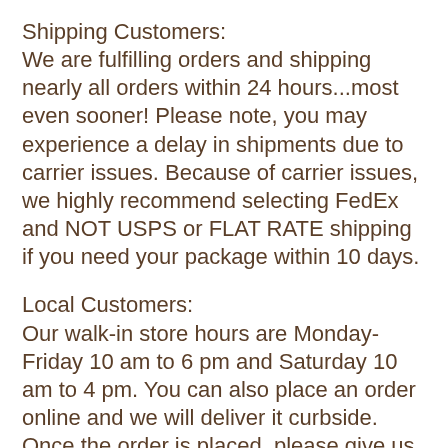Shipping Customers:
We are fulfilling orders and shipping nearly all orders within 24 hours...most even sooner! Please note, you may experience a delay in shipments due to carrier issues. Because of carrier issues, we highly recommend selecting FedEx and NOT USPS or FLAT RATE shipping if you need your package within 10 days.
Local Customers:
Our walk-in store hours are Monday-Friday 10 am to 6 pm and Saturday 10 am to 4 pm. You can also place an order online and we will deliver it curbside. Once the order is placed, please give us 2 hours to pick and triple check your order. Call us at 1.800.497.3927 Monday through Friday between 10:00 am and 4:00 pm if...